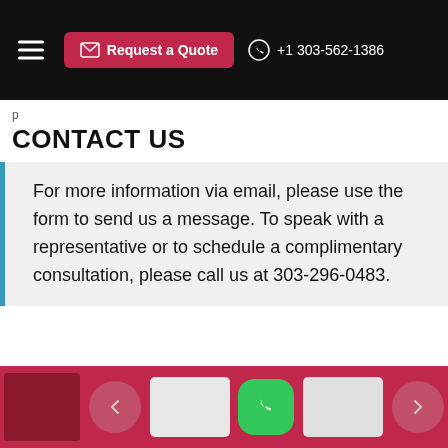Request a Quote | +1 303-562-1386
p
CONTACT US
For more information via email, please use the form to send us a message. To speak with a representative or to schedule a complimentary consultation, please call us at 303-296-0483.
Colorado Premier Moving & Storage Inc.
Available Services:
Eldora Furniture Assembly